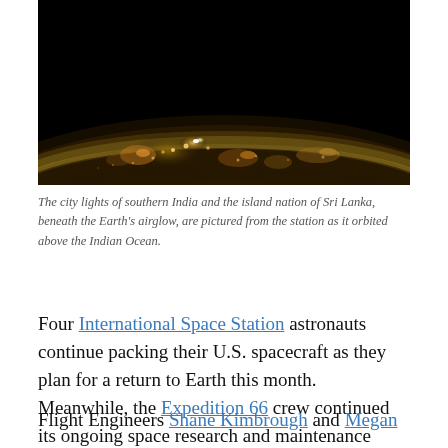[Figure (photo): Nighttime photograph from the International Space Station showing city lights of southern India and Sri Lanka beneath Earth's airglow over the Indian Ocean. The image is dark with scattered orange and white lights visible against a black background with a curved horizon illuminated by yellowish airglow.]
The city lights of southern India and the island nation of Sri Lanka, beneath the Earth's airglow, are pictured from the station as it orbited above the Indian Ocean.
Four International Space Station astronauts continue packing their U.S. spacecraft as they plan for a return to Earth this month. Meanwhile, the Expedition 66 crew continued its ongoing space research and maintenance aboard the orbital lab.
Flight Engineers Shane Kimbrough and Megan